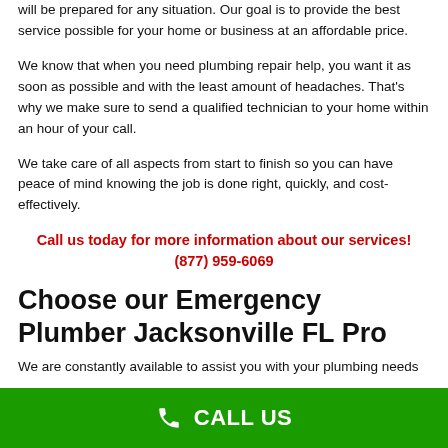will be prepared for any situation. Our goal is to provide the best service possible for your home or business at an affordable price.
We know that when you need plumbing repair help, you want it as soon as possible and with the least amount of headaches. That's why we make sure to send a qualified technician to your home within an hour of your call.
We take care of all aspects from start to finish so you can have peace of mind knowing the job is done right, quickly, and cost-effectively.
Call us today for more information about our services! (877) 959-6069
Choose our Emergency Plumber Jacksonville FL Pro
We are constantly available to assist you with your plumbing needs
CALL US